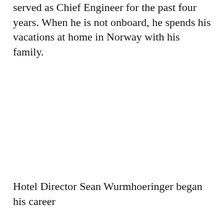served as Chief Engineer for the past four years. When he is not onboard, he spends his vacations at home in Norway with his family.
Hotel Director Sean Wurmhoeringer began his career at Norwegian in 2002 on Norwegian Sun and has since held a variety of positions on numerous ships in